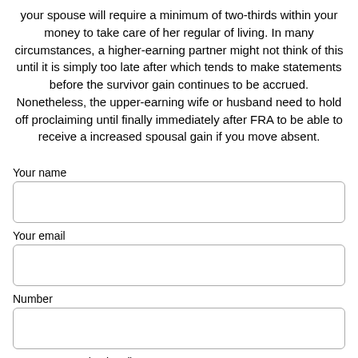your spouse will require a minimum of two-thirds within your money to take care of her regular of living. In many circumstances, a higher-earning partner might not think of this until it is simply too late after which tends to make statements before the survivor gain continues to be accrued. Nonetheless, the upper-earning wife or husband need to hold off proclaiming until finally immediately after FRA to be able to receive a increased spousal gain if you move absent.
Your name
Your email
Number
Your message (optional)